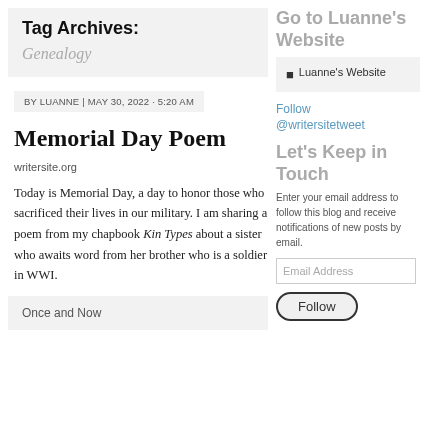Tag Archives: Genealogy
BY LUANNE | MAY 30, 2022 · 5:20 AM
Memorial Day Poem
writersite.org
Today is Memorial Day, a day to honor those who sacrificed their lives in our military. I am sharing a poem from my chapbook Kin Types about a sister who awaits word from her brother who is a soldier in WWI.
Once and Now
Go to Luanne's Website
Luanne's Website
Follow @writersitetweet
Let's Keep in Touch
Enter your email address to follow this blog and receive notifications of new posts by email.